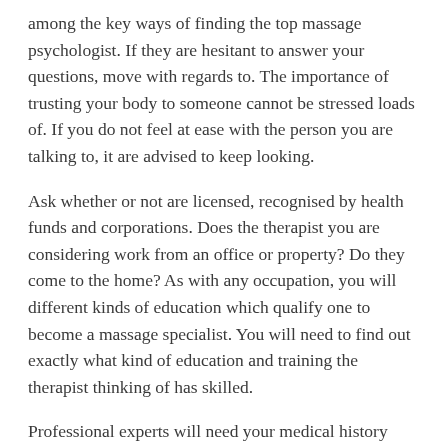among the key ways of finding the top massage psychologist. If they are hesitant to answer your questions, move with regards to. The importance of trusting your body to someone cannot be stressed loads of. If you do not feel at ease with the person you are talking to, it are advised to keep looking.
Ask whether or not are licensed, recognised by health funds and corporations. Does the therapist you are considering work from an office or property? Do they come to the home? As with any occupation, you will different kinds of education which qualify one to become a massage specialist. You will need to find out exactly what kind of education and training the therapist thinking of has skilled.
Professional experts will need your medical history before preparing for a therapy is actually why right to your requirements. They should ask in this information up until first photo session. The medications you are taking are